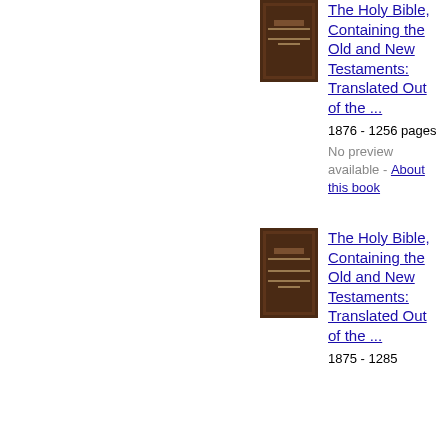[Figure (illustration): Book cover thumbnail for The Holy Bible, Containing the Old and New Testaments: Translated Out of the Original Tongues (1876)]
The Holy Bible, Containing the Old and New Testaments: Translated Out of the ...
1876 - 1256 pages
No preview available -
About this book
[Figure (illustration): Book cover thumbnail for The Holy Bible, Containing the Old and New Testaments: Translated Out of the Original Tongues (1875)]
The Holy Bible, Containing the Old and New Testaments: Translated Out of the ...
1875 - 1285 pages